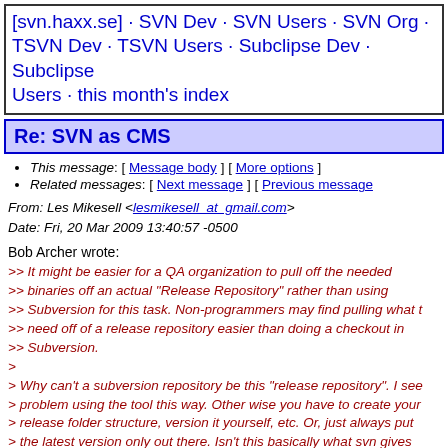[svn.haxx.se] · SVN Dev · SVN Users · SVN Org · TSVN Dev · TSVN Users · Subclipse Dev · Subclipse Users · this month's index
Re: SVN as CMS
This message: [ Message body ] [ More options ]
Related messages: [ Next message ] [ Previous message
From: Les Mikesell <lesmikesell at gmail.com>
Date: Fri, 20 Mar 2009 13:40:57 -0500
Bob Archer wrote:
>> It might be easier for a QA organization to pull off the needed
>> binaries off an actual "Release Repository" rather than using
>> Subversion for this task. Non-programmers may find pulling what t
>> need off of a release repository easier than doing a checkout in
>> Subversion.
>
> Why can't a subversion repository be this "release repository". I see
> problem using the tool this way. Other wise you have to create your
> release folder structure, version it yourself, etc. Or, just always put
> the latest version only out there. Isn't this basically what svn gives
> you without all the work?
One problem is that it is next to impossible to really delete any